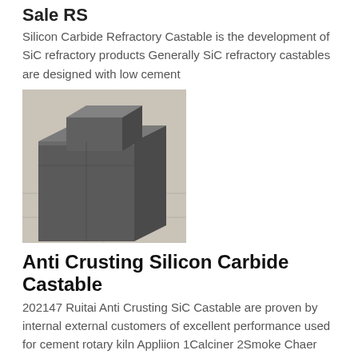Sale RS
Silicon Carbide Refractory Castable is the development of SiC refractory products Generally SiC refractory castables are designed with low cement
[Figure (photo): Photo of dark grey silicon carbide refractory castable blocks stacked together on a light surface]
Anti Crusting Silicon Carbide Castable
202147 Ruitai Anti Crusting SiC Castable are proven by internal external customers of excellent performance used for cement rotary kiln Appliion 1Calciner 2Smoke Chaer 3Preheater Physical properties aAnti Crusting
[Figure (photo): Photo of small silver-white metallic granules or beads of anti-crusting silicon carbide castable material]